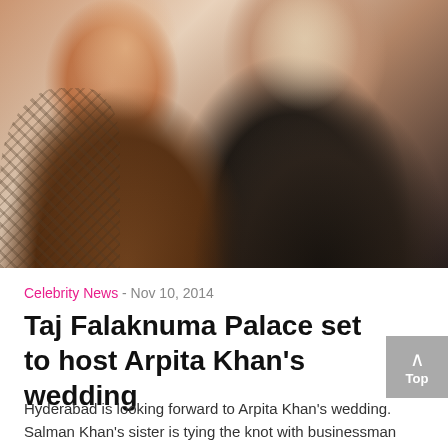[Figure (photo): A close-up photo of two people smiling together — a young woman on the left with dark skin wearing a snake-print top, and a man on the right wearing a dark navy v-neck t-shirt.]
Celebrity News - Nov 10, 2014
Taj Falaknuma Palace set to host Arpita Khan's wedding
Hyderabad is looking forward to Arpita Khan's wedding. Salman Khan's sister is tying the knot with businessman